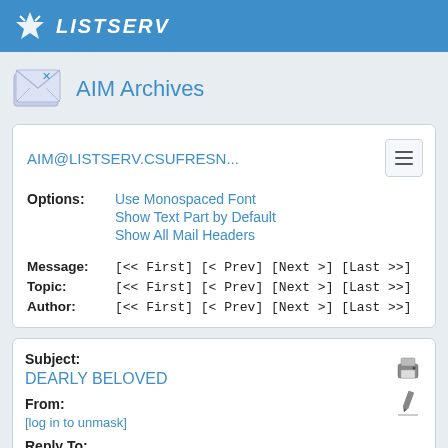LISTSERV
AIM Archives
AIM@LISTSERV.CSUFRESN...
Options: Use Monospaced Font
Show Text Part by Default
Show All Mail Headers
Message: [<< First] [< Prev] [Next >] [Last >>]
Topic: [<< First] [< Prev] [Next >] [Last >>]
Author: [<< First] [< Prev] [Next >] [Last >>]
Subject:
DEARLY BELOVED
From:
[log in to unmask]
Reply To:
[log in to unmask]